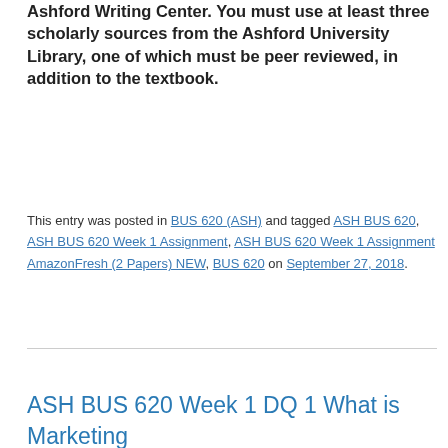Ashford Writing Center. You must use at least three scholarly sources from the Ashford University Library, one of which must be peer reviewed, in addition to the textbook.
This entry was posted in BUS 620 (ASH) and tagged ASH BUS 620, ASH BUS 620 Week 1 Assignment, ASH BUS 620 Week 1 Assignment AmazonFresh (2 Papers) NEW, BUS 620 on September 27, 2018.
ASH BUS 620 Week 1 DQ 1 What is Marketing